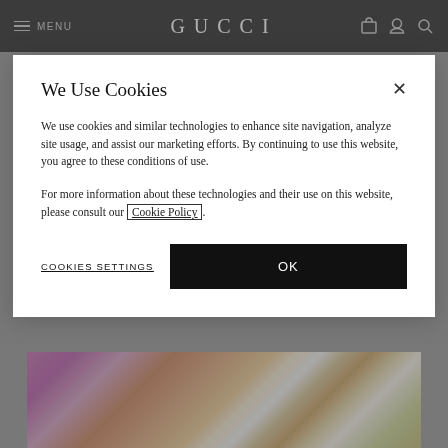MENU | GUCCI
[Figure (photo): Close-up photo of hands holding an ornate white and gold teacup/saucer with floral decoration, against a pink/magenta background]
[Figure (photo): Close-up photo of an elderly person's face with white/grey hair, partially visible]
We Use Cookies
We use cookies and similar technologies to enhance site navigation, analyze site usage, and assist our marketing efforts. By continuing to use this website, you agree to these conditions of use.
For more information about these technologies and their use on this website, please consult our Cookie Policy.
COOKIES SETTINGS
OK